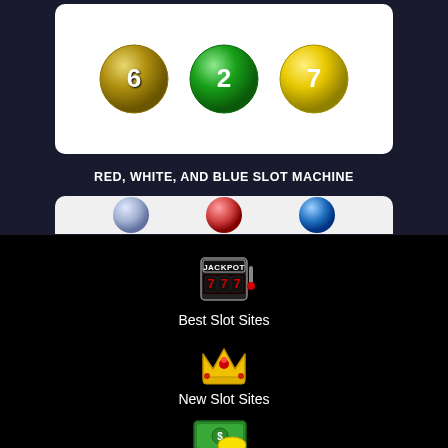[Figure (illustration): Three lottery balls (numbered 6, 2, 7) on white card background with dark border]
RED, WHITE, AND BLUE SLOT MACHINE
[Figure (illustration): Partial view of another lottery balls card at bottom of top section]
[Figure (illustration): Jackpot slot machine icon showing 777]
Best Slot Sites
[Figure (illustration): Gold crown with red gem icon]
New Slot Sites
[Figure (illustration): Green money bill with gold coins icon]
Free Slot Sites
[Figure (illustration): Red mobile phone held in hand icon]
Mobile Slot Sites